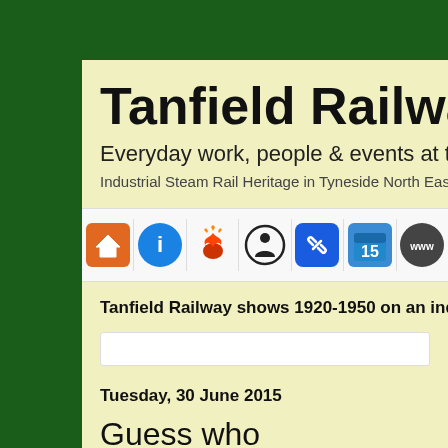Tanfield Railway Blo
Everyday work, people & events at th
Industrial Steam Rail Heritage in Tyneside North Eas
[Figure (infographic): Navigation bar with 7 icon buttons: home (orange), info (blue circle), phoenix (red), accessibility person (circle outline), link (blue), calendar/15 (blue), www (dark circle)]
Tanfield Railway shows 1920-1950 on an industri
Tuesday, 30 June 2015
Guess who